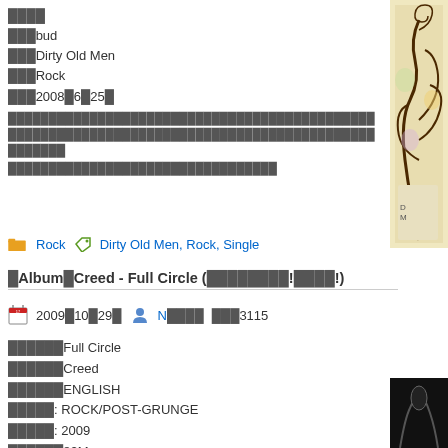████
███bud
███Dirty Old Men
███Rock
███2008█6█25█
████████████████████████████████████████████████████████████████████████████████████████████
████████████████████████████
[Figure (illustration): Decorative illustration with tree/owl design in warm colors on right side]
Rock   Dirty Old Men, Rock, Single
█Album█Creed - Full Circle (████████!████!)
2009█10█29█   N████   ███3115
██████Full Circle
██████Creed
██████ENGLISH
█████: ROCK/POST-GRUNGE
█████: 2009
██████82M
█████
████████WINDUP████████scott█seether█12stones ███████████████████2009██████████████
[Figure (photo): Dark moody photo on right side bottom]